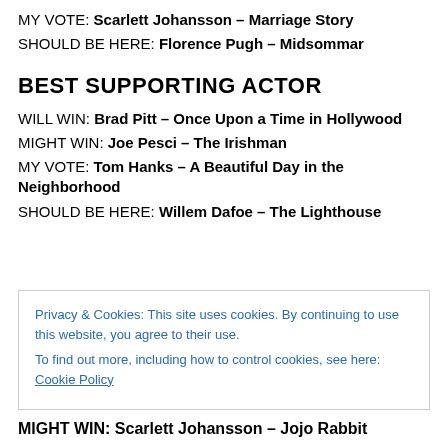MY VOTE: Scarlett Johansson – Marriage Story
SHOULD BE HERE: Florence Pugh – Midsommar
BEST SUPPORTING ACTOR
WILL WIN: Brad Pitt – Once Upon a Time in Hollywood
MIGHT WIN: Joe Pesci – The Irishman
MY VOTE: Tom Hanks – A Beautiful Day in the Neighborhood
SHOULD BE HERE: Willem Dafoe – The Lighthouse
Privacy & Cookies: This site uses cookies. By continuing to use this website, you agree to their use. To find out more, including how to control cookies, see here: Cookie Policy
Close and accept
MIGHT WIN: Scarlett Johansson – Jojo Rabbit